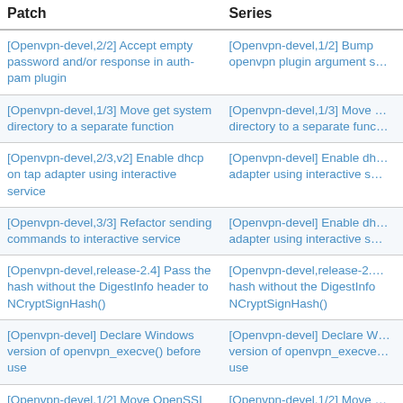| Patch | Series |
| --- | --- |
| [Openvpn-devel,2/2] Accept empty password and/or response in auth-pam plugin | [Openvpn-devel,1/2] Bump openvpn plugin argument s… |
| [Openvpn-devel,1/3] Move get system directory to a separate function | [Openvpn-devel,1/3] Move … directory to a separate func… |
| [Openvpn-devel,2/3,v2] Enable dhcp on tap adapter using interactive service | [Openvpn-devel] Enable dh… adapter using interactive s… |
| [Openvpn-devel,3/3] Refactor sending commands to interactive service | [Openvpn-devel] Enable dh… adapter using interactive s… |
| [Openvpn-devel,release-2.4] Pass the hash without the DigestInfo header to NCryptSignHash() | [Openvpn-devel,release-2.… hash without the DigestInfo NCryptSignHash() |
| [Openvpn-devel] Declare Windows version of openvpn_execve() before use | [Openvpn-devel] Declare W… version of openvpn_execve… use |
| [Openvpn-devel,1/2] Move OpenSSL vs CNG signature digest type mapping to a function | [Openvpn-devel,1/2] Move … CNG signature digest type … a function |
| [Openvpn-devel] White-list pull-filter and script-security in interactive service | [Openvpn-devel] White-list… and script-security in intera… |